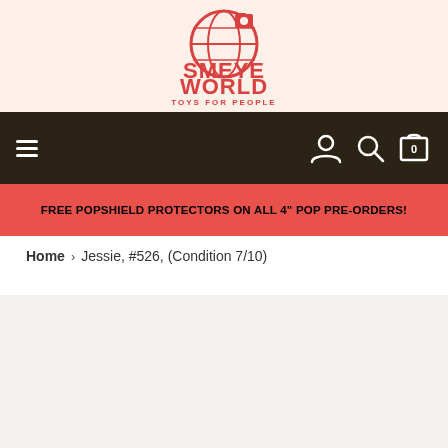[Figure (logo): Smeye World - Toys For People logo in red with globe icon]
Navigation bar with hamburger menu, user/account icon, search icon, and cart (0) icon
FREE POPSHIELD PROTECTORS ON ALL 4" POP PRE-ORDERS!
Home > Jessie, #526, (Condition 7/10)